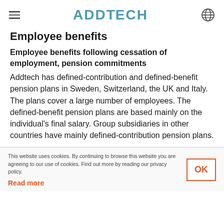ADDTECH
Employee benefits
Employee benefits following cessation of employment, pension commitments
Addtech has defined-contribution and defined-benefit pension plans in Sweden, Switzerland, the UK and Italy. The plans cover a large number of employees. The defined-benefit pension plans are based mainly on the individual's final salary. Group subsidiaries in other countries have mainly defined-contribution pension plans.
This website uses cookies. By continuing to browse this website you are agreeing to our use of cookies. Find out more by reading our privacy policy.
Read more